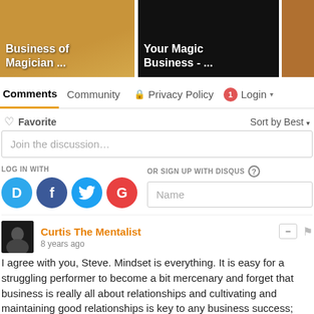[Figure (screenshot): Two video thumbnail images: first shows 'Business of Magician ...' on warm background, second shows 'Your Magic Business - ...' on dark background, third partially visible thumbnail.]
Comments  Community  🔒 Privacy Policy  1  Login
♡ Favorite   Sort by Best
Join the discussion…
LOG IN WITH
OR SIGN UP WITH DISQUS ?
Name
Curtis The Mentalist
8 years ago
I agree with you, Steve. Mindset is everything. It is easy for a struggling performer to become a bit mercenary and forget that business is really all about relationships and cultivating and maintaining good relationships is key to any business success;